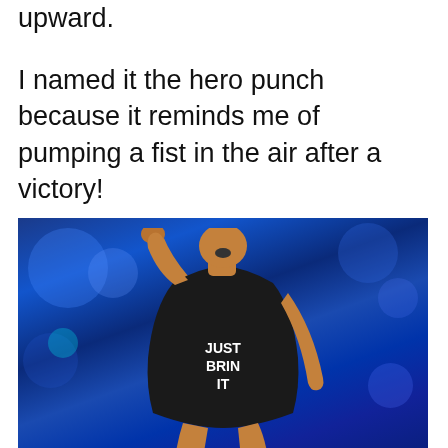upward.
I named it the hero punch because it reminds me of pumping a fist in the air after a victory!
[Figure (photo): A muscular person wearing a black 'JUST BRING IT' tank top raising their fist in the air triumphantly in front of a blue-lit crowd]